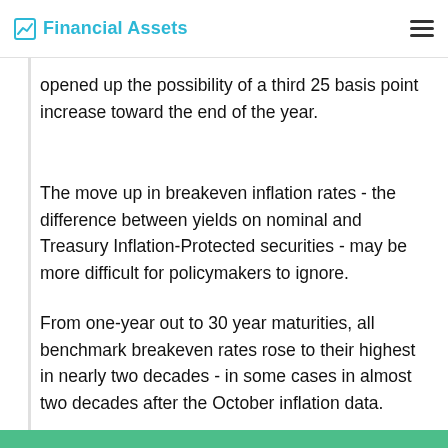Financial Assets
Money markets did not price toward the first of two increases in for next year from July, but opened up the possibility of a third 25 basis point increase toward the end of the year.
The move up in breakeven inflation rates - the difference between yields on nominal and Treasury Inflation-Protected securities - may be more difficult for policymakers to ignore.
From one-year out to 30 year maturities, all benchmark breakeven rates rose to their highest in nearly two decades - in some cases in almost two decades after the October inflation data.
In recent days a growing number of leading government and central bank officials, including Larry Summers, Bill Dudley and Willem Buiter,